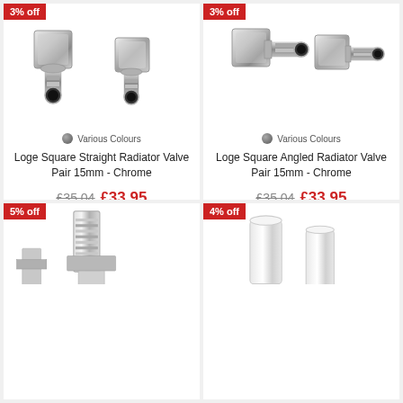[Figure (photo): Loge Square Straight Radiator Valve Pair 15mm Chrome product photo with 3% off badge]
Various Colours
Loge Square Straight Radiator Valve Pair 15mm - Chrome
£35.04 £33.95
[Figure (photo): Loge Square Angled Radiator Valve Pair 15mm Chrome product photo with 3% off badge]
Various Colours
Loge Square Angled Radiator Valve Pair 15mm - Chrome
£35.04 £33.95
[Figure (photo): Partial product photo with 5% off badge]
[Figure (photo): Partial product photo with 4% off badge]